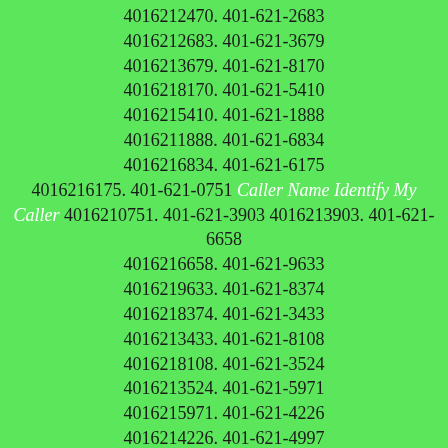4016212470. 401-621-2683 4016212683. 401-621-3679 4016213679. 401-621-8170 4016218170. 401-621-5410 4016215410. 401-621-1888 4016211888. 401-621-6834 4016216834. 401-621-6175 4016216175. 401-621-0751 Caller Name Identify My Caller 4016210751. 401-621-3903 4016213903. 401-621-6658 4016216658. 401-621-9633 4016219633. 401-621-8374 4016218374. 401-621-3433 4016213433. 401-621-8108 4016218108. 401-621-3524 4016213524. 401-621-5971 4016215971. 401-621-4226 4016214226. 401-621-4997 4016214997. 401-621-5703 4016215703. 401-621-1518 4016211518. 401-621-3794 4016213794. 401-621-3212 4016213212. 401-621-3755 4016213755. 401-621-5423 4016215423. 401-621-8821